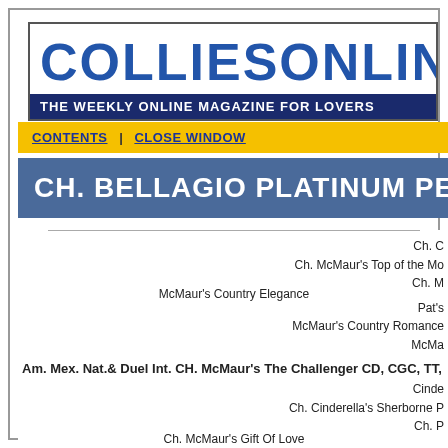COLLIESONLINE
THE WEEKLY ONLINE MAGAZINE FOR LOVERS
CONTENTS | CLOSE WINDOW
CH. BELLAGIO PLATINUM PERF
Ch. C
Ch. McMaur's Top of the Mo
Ch. M
McMaur's Country Elegance
Pat's
McMaur's Country Romance
McMa
Am. Mex. Nat.& Duel Int. CH. McMaur's The Challenger CD, CGC, TT,
Cinde
Ch. Cinderella's Sherborne P
Ch. P
Ch. McMaur's Gift Of Love
Ch. S
Ch. McMaur's Foxy Filly (CC
McMa
McMa